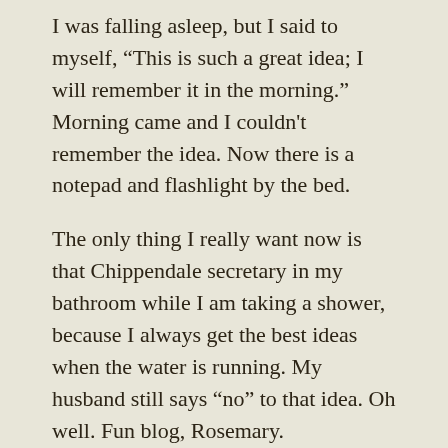I was falling asleep, but I said to myself, “This is such a great idea; I will remember it in the morning.” Morning came and I couldn't remember the idea. Now there is a notepad and flashlight by the bed.
The only thing I really want now is that Chippendale secretary in my bathroom while I am taking a shower, because I always get the best ideas when the water is running. My husband still says “no” to that idea. Oh well. Fun blog, Rosemary.
Like
Reply